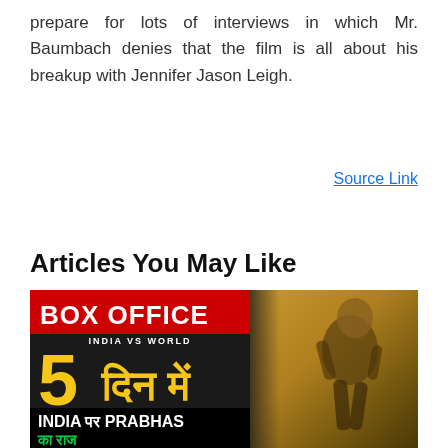prepare for lots of interviews in which Mr. Baumbach denies that the film is all about his breakup with Jennifer Jason Leigh.
Source Link
Articles You May Like
[Figure (photo): Box office promotional image with text: BOX OFFICE, INDIA VS WORLD, 5 दिन में, INDIA पर PRABHAS का राज. Right side shows a male actor in action pose against a sepia/golden battlefield background.]